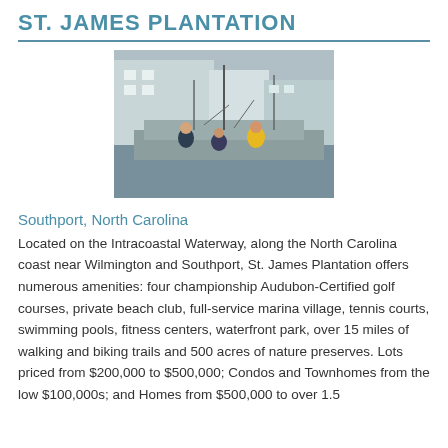ST. JAMES PLANTATION
[Figure (photo): People on a boat at a marina, one person in yellow jacket, marina buildings in background]
Southport, North Carolina
Located on the Intracoastal Waterway, along the North Carolina coast near Wilmington and Southport, St. James Plantation offers numerous amenities: four championship Audubon-Certified golf courses, private beach club, full-service marina village, tennis courts, swimming pools, fitness centers, waterfront park, over 15 miles of walking and biking trails and 500 acres of nature preserves. Lots priced from $200,000 to $500,000; Condos and Townhomes from the low $100,000s; and Homes from $500,000 to over 1.5